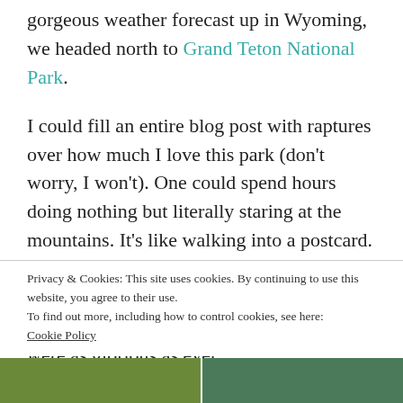gorgeous weather forecast up in Wyoming, we headed north to Grand Teton National Park.
I could fill an entire blog post with raptures over how much I love this park (don't worry, I won't). One could spend hours doing nothing but literally staring at the mountains. It's like walking into a postcard. We were there over 4th of July weekend, so it was more crowded than usual, but once the crowds thinned the hiking and camping were as glorious as ever.
Privacy & Cookies: This site uses cookies. By continuing to use this website, you agree to their use.
To find out more, including how to control cookies, see here: Cookie Policy
[Figure (photo): Two photographs side by side at the bottom of the page — left shows a green fence/field scene, right shows green foliage/trees.]